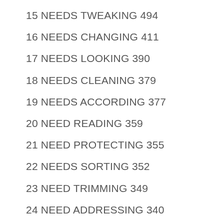15 NEEDS TWEAKING 494
16 NEEDS CHANGING 411
17 NEEDS LOOKING 390
18 NEEDS CLEANING 379
19 NEEDS ACCORDING 377
20 NEED READING 359
21 NEED PROTECTING 355
22 NEEDS SORTING 352
23 NEED TRIMMING 349
24 NEED ADDRESSING 340
25 NEED PLANNING 324